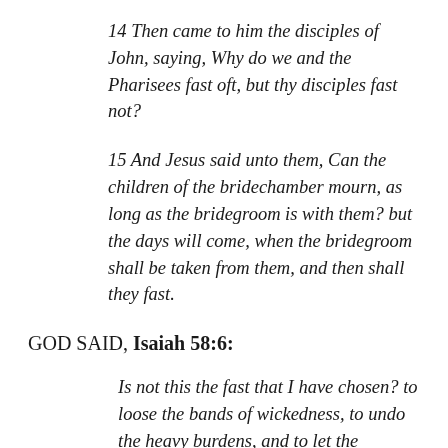14 Then came to him the disciples of John, saying, Why do we and the Pharisees fast oft, but thy disciples fast not?
15 And Jesus said unto them, Can the children of the bridechamber mourn, as long as the bridegroom is with them? but the days will come, when the bridegroom shall be taken from them, and then shall they fast.
GOD SAID, Isaiah 58:6:
Is not this the fast that I have chosen? to loose the bands of wickedness, to undo the heavy burdens, and to let the oppressed go free, and that ye break every yoke?